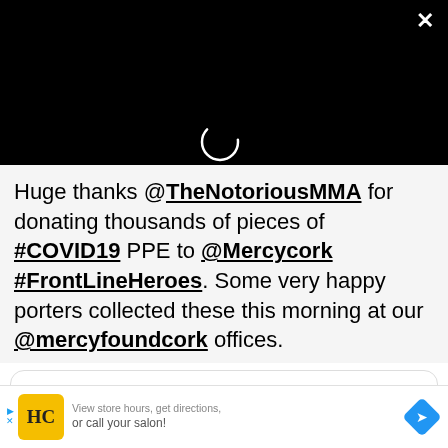[Figure (screenshot): Black video player area at top with a circular loading spinner and a white X close button in the top-right corner]
Huge thanks @TheNotoriousMMA for donating thousands of pieces of #COVID19 PPE to @Mercycork #FrontLineHeroes. Some very happy porters collected these this morning at our @mercyfoundcork offices.
[Figure (screenshot): Embedded card or advertisement panel at the bottom showing an HC logo, text 'View store hours, get directions, or call your salon!' and a blue navigation diamond icon]